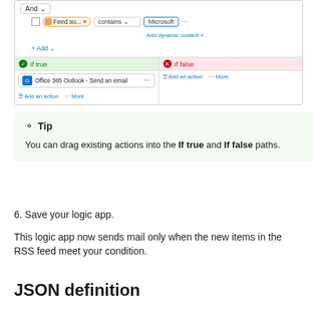[Figure (screenshot): Microsoft Logic Apps UI screenshot showing a condition builder with 'Feed su... contains Microsoft' filter, and two branches: 'If true' (with Office 365 Outlook - Send an email action) and 'If false' (empty branch), each with Add an action and More options.]
Tip
You can drag existing actions into the If true and If false paths.
6. Save your logic app.
This logic app now sends mail only when the new items in the RSS feed meet your condition.
JSON definition